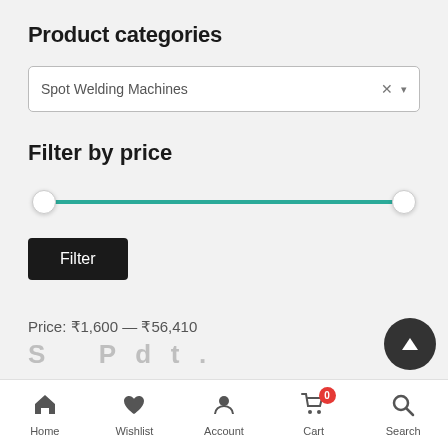Product categories
Spot Welding Machines
Filter by price
[Figure (infographic): Price range slider with teal track and two circular thumb handles at left and right ends]
Filter
Price:  ₹1,600 — ₹56,410
Home  Wishlist  Account  Cart  Search